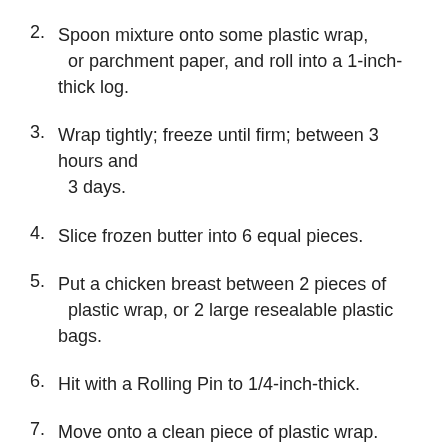2. Spoon mixture onto some plastic wrap, or parchment paper, and roll into a 1-inch-thick log.
3. Wrap tightly; freeze until firm; between 3 hours and 3 days.
4. Slice frozen butter into 6 equal pieces.
5. Put a chicken breast between 2 pieces of plastic wrap, or 2 large resealable plastic bags.
6. Hit with a Rolling Pin to 1/4-inch-thick.
7. Move onto a clean piece of plastic wrap. Season well.